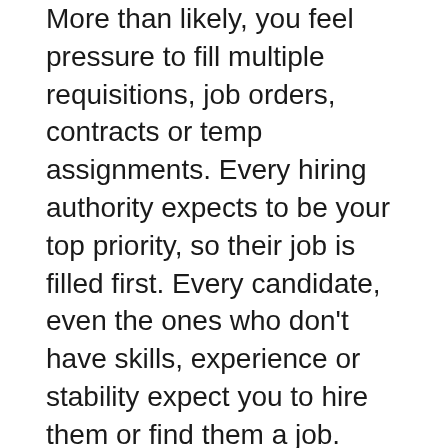More than likely, you feel pressure to fill multiple requisitions, job orders, contracts or temp assignments. Every hiring authority expects to be your top priority, so their job is filled first. Every candidate, even the ones who don't have skills, experience or stability expect you to hire them or find them a job.
Developing an “outsidein” viewpoint will help you achieve more while you show your clients, candidates and co-workers that you care about what’s important to them. Put yourself in the shoes of your clients, candidates or co-workers and see the world through their eyes.
It’s never our job to disagree with what someone else does or says. It is our job to determine what’s most important to them. Who would your client hire without hesitation? What job would your candidate